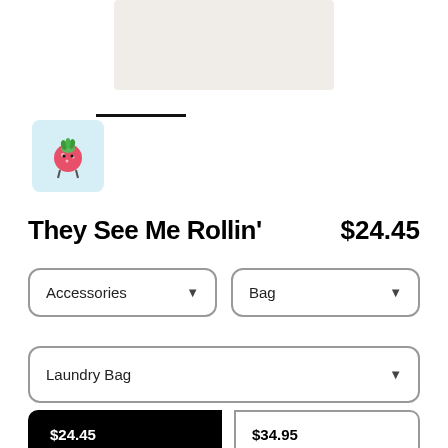[Figure (photo): Product image of a light-colored bag against white background]
[Figure (logo): Circular shop icon with pink strawberry character on light blue background]
They See Me Rollin'
$24.45
Accessories
Bag
Laundry Bag
$24.45
18" x 32"
$34.95
28" x 36"